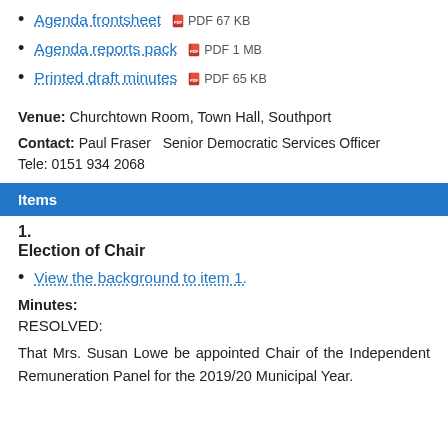Agenda frontsheet PDF 67 KB
Agenda reports pack PDF 1 MB
Printed draft minutes PDF 65 KB
Venue: Churchtown Room, Town Hall, Southport
Contact: Paul Fraser  Senior Democratic Services Officer Tele: 0151 934 2068
Items
1.
Election of Chair
View the background to item 1.
Minutes:
RESOLVED:
That Mrs. Susan Lowe be appointed Chair of the Independent Remuneration Panel for the 2019/20 Municipal Year.